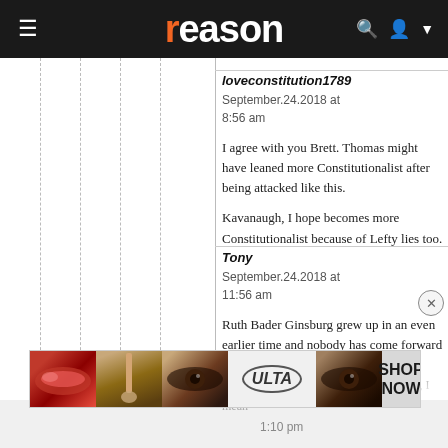reason
loveconstitution1789
September.24.2018 at 8:56 am

I agree with you Brett. Thomas might have leaned more Constitutionalist after being attacked like this.

Kavanaugh, I hope becomes more Constitutionalist because of Lefty lies too.
Tony
September.24.2018 at 11:56 am

Ruth Bader Ginsburg grew up in an even earlier time and nobody has come forward accusing her of attempted rape. Except Abraham Lincoln, I mean
[Figure (advertisement): ULTA Beauty advertisement banner showing lips, makeup brush, eyes, ULTA logo, and SHOP NOW text]